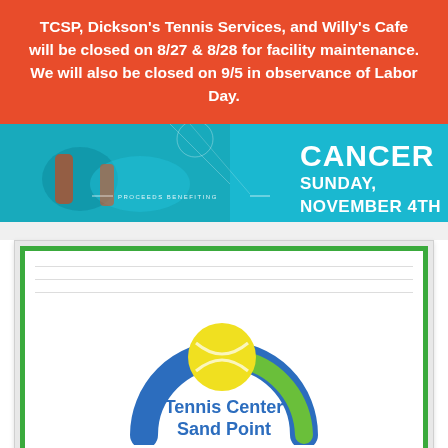TCSP, Dickson's Tennis Services, and Willy's Cafe will be closed on 8/27 & 8/28 for facility maintenance. We will also be closed on 9/5 in observance of Labor Day.
[Figure (infographic): Blue banner image showing tennis players with text overlay reading 'CANCER' in large white bold letters, 'SUNDAY,' and 'NOVEMBER 4TH' below, with 'PROCEEDS BENEFITING' text in the middle-left area.]
[Figure (logo): Tennis Center Sand Point logo with blue arch, green accent, yellow tennis ball, and text 'Tennis Center Sand Point' in blue.]